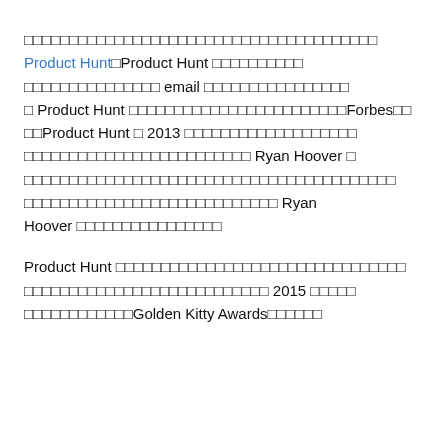□□□□□□□□□□□□□□□□□□□□□□□□□□□□□□□□□□□□□□□ Product Hunt□Product Hunt □□□□□□□□□□□□□□□□□□□□□□□□□ email □□□□□□□□□□□□□□□□□ Product Hunt □□□□□□□□□□□□□□□□□□□□□□□□Forbes□□□□Product Hunt □ 2013 □□□□□□□□□□□□□□□□□□□□□□□□□□□□□□□□□□□□□□□□□ Ryan Hoover □□□□□□□□□□□□□□□□□□□□□□□□□□□□□□□□□□□□□□□□□□□□□□□□□□□□□□□□□□□□□□□□□□□□□□ Ryan Hoover □□□□□□□□□□□□□□□□
Product Hunt □□□□□□□□□□□□□□□□□□□□□□□□□□□□□□□□□□□□□□□□□□□□□□□□□□□□□□□ 2015 □□□□□□□□□□□□□□□□□□□Golden Kitty Awards□□□□□□